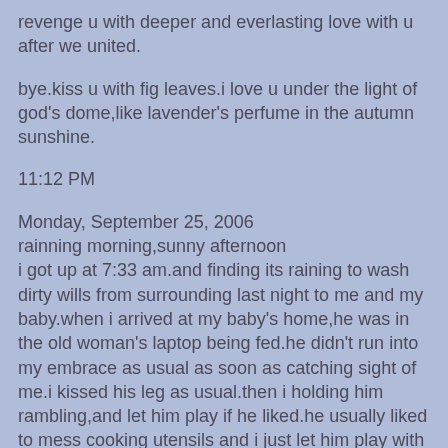revenge u with deeper and everlasting love with u after we united.
bye.kiss u with fig leaves.i love u under the light of god's dome,like lavender's perfume in the autumn sunshine.
11:12 PM
Monday, September 25, 2006
rainning morning,sunny afternoon
i got up at 7:33 am.and finding its raining to wash dirty wills from surrounding last night to me and my baby.when i arrived at my baby's home,he was in the old woman's laptop being fed.he didn't run into my embrace as usual as soon as catching sight of me.i kissed his leg as usual.then i holding him rambling,and let him play if he liked.he usually liked to mess cooking utensils and i just let him play with them.the old woman urged him to sleep but he slept lately after 11:00.i in fact sometimes itching to backup my pda but i held back my eagerness.i held him in sleep in my arms with quilt till his mother returned.she was obviously unhappy with me.she directly went to bed and refused to coorporate with me to let